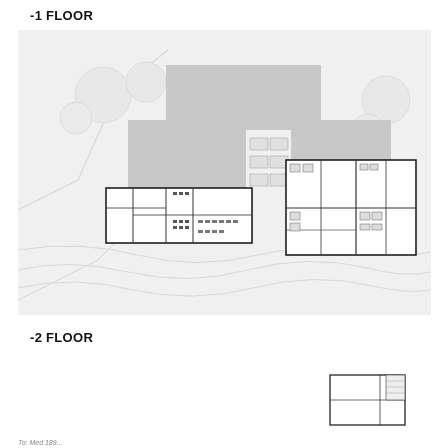-1 FLOOR
[Figure (engineering-diagram): Architectural floor plan for -1 Floor showing site plan with two building footprints containing room layouts, surrounded by topographic/landscape context with trees and contour lines]
-2 FLOOR
[Figure (engineering-diagram): Partial architectural floor plan for -2 Floor showing a small building footprint in lower right corner, cut off at page bottom]